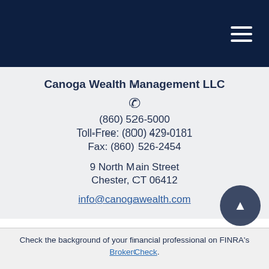Canoga Wealth Management LLC
(860) 526-5000
Toll-Free: (800) 429-0181
Fax: (860) 526-2454
9 North Main Street
Chester, CT 06412
info@canogawealth.com
Check the background of your financial professional on FINRA's BrokerCheck.